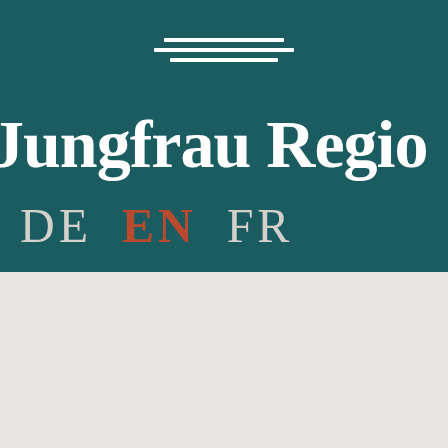[Figure (logo): Jungfrau Region logo with three horizontal white lines above the text, displayed on a dark teal background. Below the logo name are language selectors: DE, EN (highlighted in red/orange), FR.]
[Figure (photo): A dark/black member card with gold text reading 'MEMBER CARD JUNGF...' (partially cropped), shown at an angle on a light grey background.]